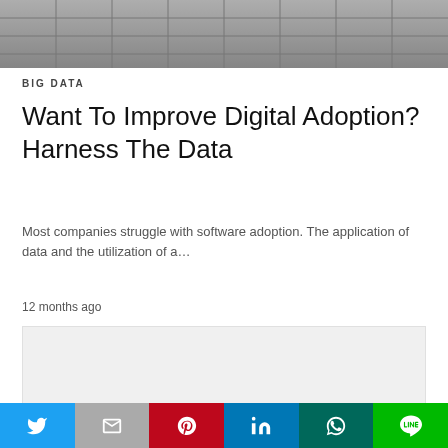[Figure (photo): Grayscale photo of what appears to be rows of data or servers viewed from above]
BIG DATA
Want To Improve Digital Adoption? Harness The Data
Most companies struggle with software adoption. The application of data and the utilization of a…
12 months ago
[Figure (other): Gray placeholder card/image block]
Social share bar: Twitter, Gmail, Pinterest, LinkedIn, WhatsApp, Line